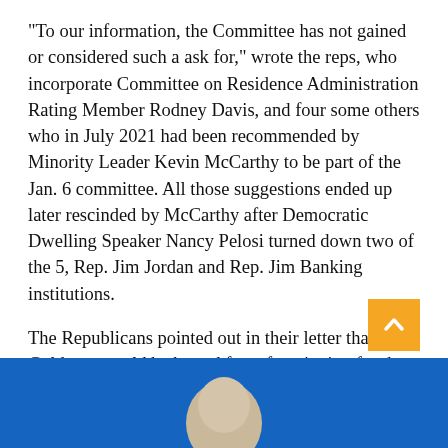“To our information, the Committee has not gained or considered such a ask for,” wrote the reps, who incorporate Committee on Residence Administration Rating Member Rodney Davis, and four some others who in July 2021 had been recommended by Minority Leader Kevin McCarthy to be part of the Jan. 6 committee. All those suggestions ended up later rescinded by McCarthy after Democratic Dwelling Speaker Nancy Pelosi turned down two of the 5, Rep. Jim Jordan and Rep. Jim Banking institutions.
The Republicans pointed out in their letter that Goldston would be barred from functioning for the Jan. 6 committee for totally free.
[Figure (photo): A person photographed against a blue background, showing the top of their head/face from below frame, suggesting a news article image.]